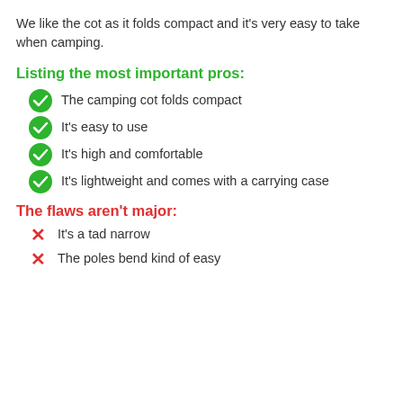We like the cot as it folds compact and it's very easy to take when camping.
Listing the most important pros:
The camping cot folds compact
It's easy to use
It's high and comfortable
It's lightweight and comes with a carrying case
The flaws aren't major:
It's a tad narrow
The poles bend kind of easy